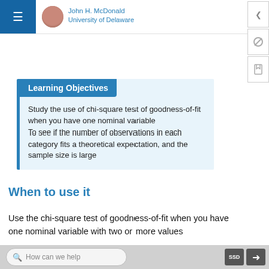John H. McDonald
University of Delaware
Learning Objectives
Study the use of chi-square test of goodness-of-fit when you have one nominal variable
To see if the number of observations in each category fits a theoretical expectation, and the sample size is large
When to use it
Use the chi-square test of goodness-of-fit when you have one nominal variable with two or more values